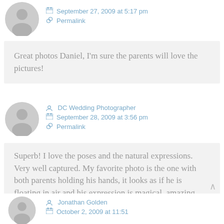September 27, 2009 at 5:17 pm
Permalink
Great photos Daniel, I'm sure the parents will love the pictures!
DC Wedding Photographer
September 28, 2009 at 3:56 pm
Permalink
Superb! I love the poses and the natural expressions. Very well captured. My favorite photo is the one with both parents holding his hands, it looks as if he is floating in air and his expression is magical. amazing pictures!
Jonathan Golden
October 2, 2009 at 11:51